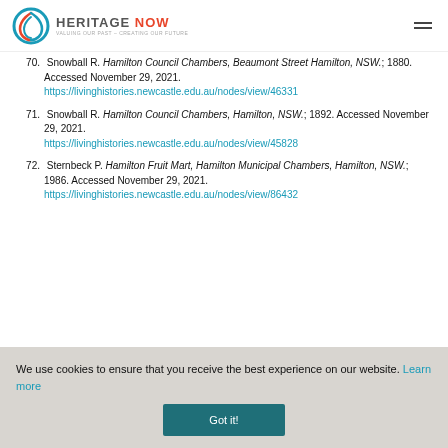HERITAGE NOW - Valuing our past - Creating our future
70. Snowball R. Hamilton Council Chambers, Beaumont Street Hamilton, NSW.; 1880. Accessed November 29, 2021. https://livinghistories.newcastle.edu.au/nodes/view/46331
71. Snowball R. Hamilton Council Chambers, Hamilton, NSW.; 1892. Accessed November 29, 2021. https://livinghistories.newcastle.edu.au/nodes/view/45828
72. Sternbeck P. Hamilton Fruit Mart, Hamilton Municipal Chambers, Hamilton, NSW.; 1986. Accessed November 29, 2021. https://livinghistories.newcastle.edu.au/nodes/view/86432
We use cookies to ensure that you receive the best experience on our website. Learn more
Got it!